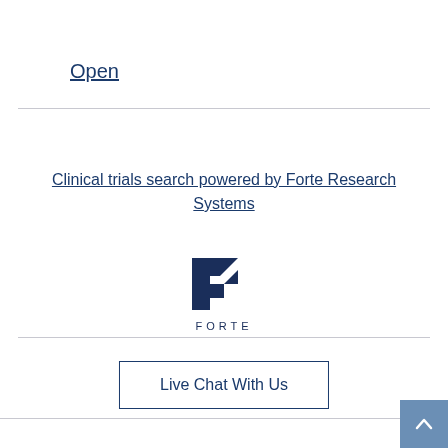Open
Clinical trials search powered by Forte Research Systems
[Figure (logo): Forte Research Systems logo — stylized 'F' shield icon in dark navy blue with the word FORTE in spaced capital letters below]
Live Chat With Us